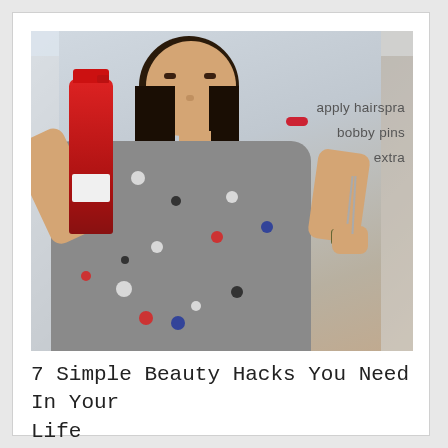[Figure (photo): A woman in a gray polka-dot sweater holding a red hairspray can in her left hand and a bobby pin in her right hand. Overlay text on the photo reads: 'apply hairspra bobby pins extra']
7 Simple Beauty Hacks You Need In Your Life